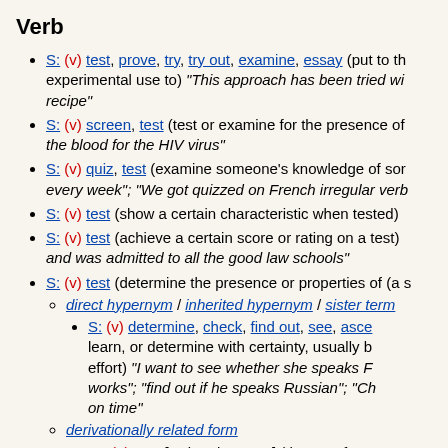Verb
S: (v) test, prove, try, try out, examine, essay (put to the experimental use to) "This approach has been tried with a new recipe"
S: (v) screen, test (test or examine for the presence of the blood for the HIV virus"
S: (v) quiz, test (examine someone's knowledge of some every week"; "We got quizzed on French irregular verb
S: (v) test (show a certain characteristic when tested)
S: (v) test (achieve a certain score or rating on a test) and was admitted to all the good law schools"
S: (v) test (determine the presence or properties of (a s
direct hypernym / inherited hypernym / sister term
S: (v) determine, check, find out, see, asce learn, or determine with certainty, usually by effort) "I want to see whether she speaks F works"; "find out if he speaks Russian"; "Ch on time"
derivationally related form
W: (n) test [Related to: test] (the act of te experimental trials the amount of carbo separately"; "he called each flip of the c
derivationally related form